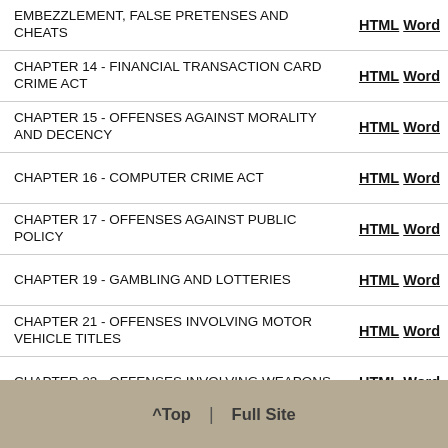EMBEZZLEMENT, FALSE PRETENSES AND CHEATS
CHAPTER 14 - FINANCIAL TRANSACTION CARD CRIME ACT
CHAPTER 15 - OFFENSES AGAINST MORALITY AND DECENCY
CHAPTER 16 - COMPUTER CRIME ACT
CHAPTER 17 - OFFENSES AGAINST PUBLIC POLICY
CHAPTER 19 - GAMBLING AND LOTTERIES
CHAPTER 21 - OFFENSES INVOLVING MOTOR VEHICLE TITLES
CHAPTER 23 - OFFENSES INVOLVING WEAPONS
CHAPTER 25 - CRIMINAL DOMESTIC VIOLENCE
CHAPTER 27 - ANIMAL FIGHTING AND BAITING ACT
^Top | Full Site